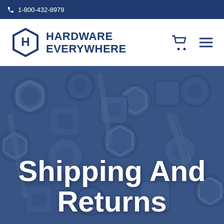1-800-432-8979
[Figure (logo): Hardware Everywhere logo with hexagon containing letter H and company name]
[Figure (photo): Hero banner showing a pile of metal bolts and nuts with blue tint overlay and text 'Shipping And Returns']
Shipping And Returns